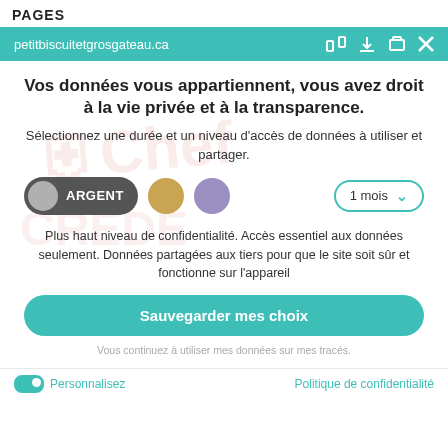PAGES
petitbiscuitetgrosgateau.ca
Vos données vous appartiennent, vous avez droit à la vie privée et à la transparence.
Sélectionnez une durée et un niveau d'accès de données à utiliser et partager.
[Figure (other): Toggle button labeled ARGENT (dark background with grey circle), gold circle button, purple circle button, and a dropdown selector showing '1 mois']
Plus haut niveau de confidentialité. Accès essentiel aux données seulement. Données partagées aux tiers pour que le site soit sûr et fonctionne sur l'appareil
Sauvegarder mes choix
Vous continuez à utiliser mes données sur mes tracés.
Personnalisez
Politique de confidentialité